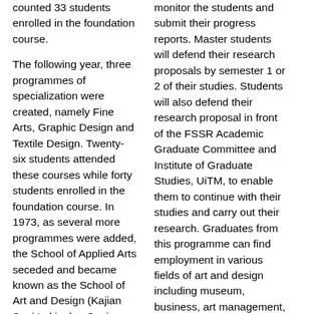counted 33 students enrolled in the foundation course.
The following year, three programmes of specialization were created, namely Fine Arts, Graphic Design and Textile Design. Twenty-six students attended these courses while forty students enrolled in the foundation course. In 1973, as several more programmes were added, the School of Applied Arts seceded and became known as the School of Art and Design (Kajian Seni Lukis dan Seni Reka, or KSSR). Nevertheless, KSSR still used part of the School of Architecture complex when it moved to the Shah Alam campus in 1974. Finally, in
monitor the students and submit their progress reports. Master students will defend their research proposals by semester 1 or 2 of their studies. Students will also defend their research proposal in front of the FSSR Academic Graduate Committee and Institute of Graduate Studies, UiTM, to enable them to continue with their studies and carry out their research. Graduates from this programme can find employment in various fields of art and design including museum, business, art management, education, research or become a full-time artist or designers.
BACHELOR IN INDUSTRIAL